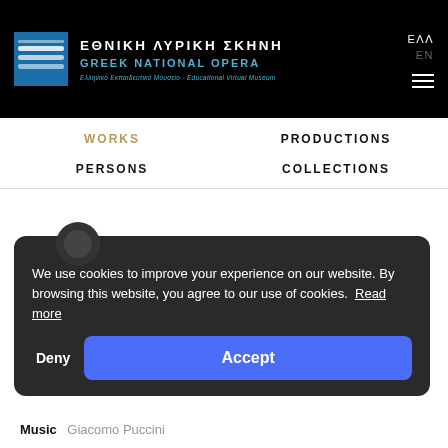ΕΘΝΙΚΗ ΛΥΡΙΚΗ ΣΚΗΝΗ / GREEK NATIONAL OPERA / Ελληνικό Εκπαιδευτικό Μουσείο - Educational Virtual Museum
WORKS | PRODUCTIONS | PERSONS | COLLECTIONS
Manon Lescaut (Manon Lescaut)
2012-2013
Music  Giacomo Puccini
We use cookies to improve your experience on our website. By browsing this website, you agree to our use of cookies. Read more